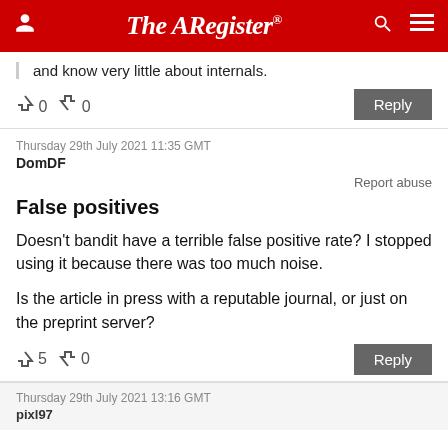The Register
and know very little about internals.
↑0  ↓0   Reply
Thursday 29th July 2021 11:35 GMT
DomDF
Report abuse
False positives
Doesn't bandit have a terrible false positive rate? I stopped using it because there was too much noise.

Is the article in press with a reputable journal, or just on the preprint server?
↑5  ↓0   Reply
Thursday 29th July 2021 13:16 GMT
pixl97